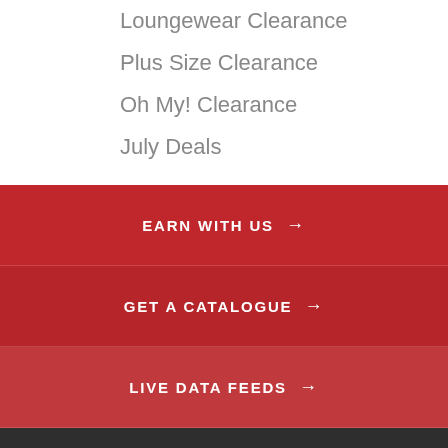Loungewear Clearance
Plus Size Clearance
Oh My! Clearance
July Deals
[Figure (other): Filter/settings icon with three horizontal sliders]
EARN WITH US →
GET A CATALOGUE →
LIVE DATA FEEDS →